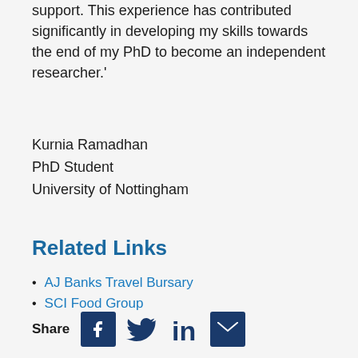support. This experience has contributed significantly in developing my skills towards the end of my PhD to become an independent researcher.'
Kurnia Ramadhan
PhD Student
University of Nottingham
Related Links
AJ Banks Travel Bursary
SCI Food Group
Share